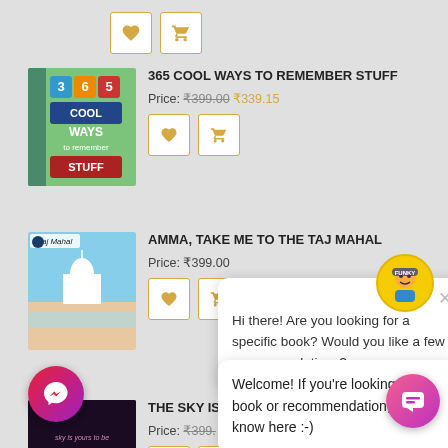[Figure (screenshot): E-commerce book listing page showing multiple books with prices and add-to-cart buttons, overlaid with a chatbot popup]
365 COOL WAYS TO REMEMBER STUFF
Price: ₹399.00 ₹339.15
AMMA, TAKE ME TO THE TAJ MAHAL
Price: ₹399.00
THE SKY IS B...
Price: ₹399...
Hi there! Are you looking for a specific book? Would you like a few recommendations?
Welcome! If you're looking for a book or recommendation, let us know here :-)